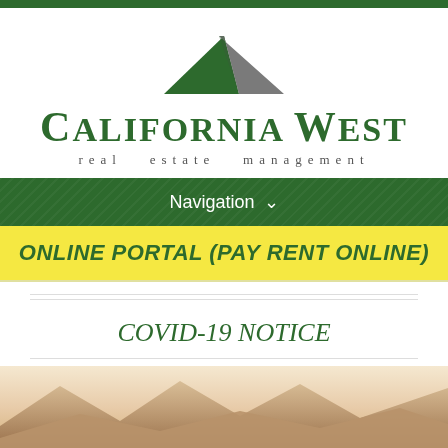[Figure (logo): California West Real Estate Management logo with green and gray roofline/chevron graphic above the company name]
Navigation
ONLINE PORTAL (PAY RENT ONLINE)
COVID-19 NOTICE
Management Services   AG Office   SLO Office   Reviews   Jobs   Newsletter
[Figure (photo): Mountain landscape with hazy sky, tan/brown foothills in the foreground]